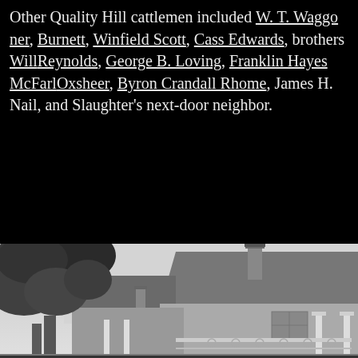Other Quality Hill cattlemen included W. T. Waggoner, Burnett, Winfield Scott, Cass Edwards, brothers Will Reynolds, George B. Loving, Franklin Hayes McFarland, Oxsheer, Byron Crandall Rhome, James H. Nail, and Slaughter's next-door neighbor.
[Figure (photo): Black and white historical photograph of a Victorian-era house with a porch featuring decorative columns and ornamental railing, partially obscured by tree branches in the upper left.]